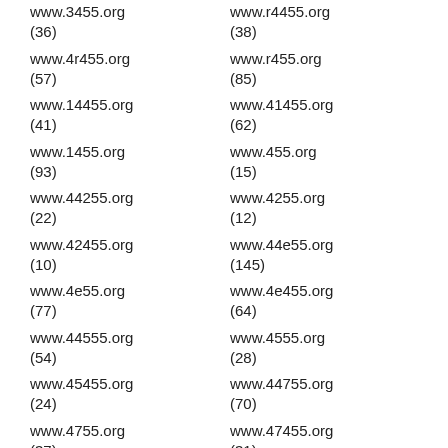www.3455.org (36)
www.r4455.org (38)
www.4r455.org (57)
www.r455.org (85)
www.14455.org (41)
www.41455.org (62)
www.1455.org (93)
www.455.org (15)
www.44255.org (22)
www.4255.org (12)
www.42455.org (10)
www.44e55.org (145)
www.4e55.org (77)
www.4e455.org (64)
www.44555.org (54)
www.4555.org (28)
www.45455.org (24)
www.44755.org (70)
www.4755.org (37)
www.47455.org (31)